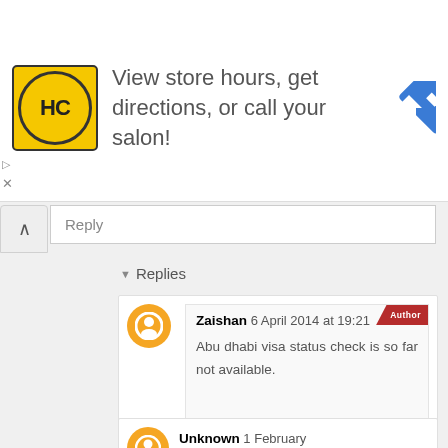[Figure (infographic): Advertisement banner: HC logo (yellow circle with HC text), text 'View store hours, get directions, or call your salon!', blue diamond navigation icon]
Reply
Replies
Zaishan 6 April 2014 at 19:21
Abu dhabi visa status check is so far not available.
Unknown 1 February